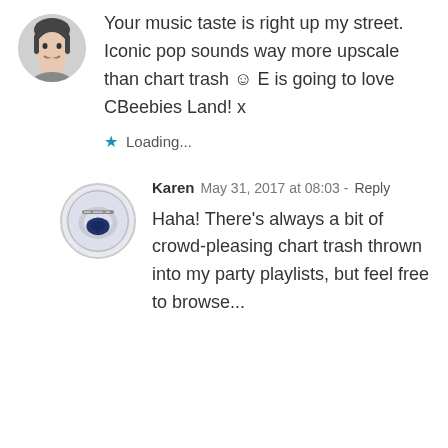Your music taste is right up my street. Iconic pop sounds way more upscale than chart trash ☺ E is going to love CBeebies Land! x
★ Loading...
Karen May 31, 2017 at 08:03 - Reply
Haha! There's always a bit of crowd-pleasing chart trash thrown into my party playlists, but feel free to browse...